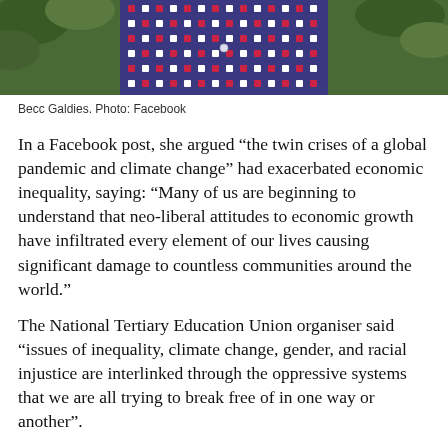[Figure (photo): Photo of Becc Galdies wearing a patterned blue/red/white dress, with green foliage in the background. Source: Facebook.]
Becc Galdies. Photo: Facebook
In a Facebook post, she argued “the twin crises of a global pandemic and climate change” had exacerbated economic inequality, saying: “Many of us are beginning to understand that neo-liberal attitudes to economic growth have infiltrated every element of our lives causing significant damage to countless communities around the world.”
The National Tertiary Education Union organiser said “issues of inequality, climate change, gender, and racial injustice are interlinked through the oppressive systems that we are all trying to break free of in one way or another”.
“I have two decades of experience on the front line of activism… I know that I can and will work with Greens party members to grow the party, actively listen to the people of